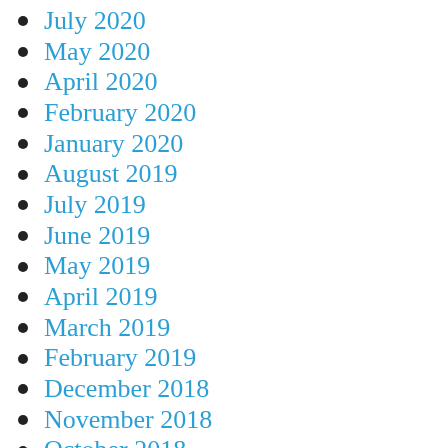July 2020
May 2020
April 2020
February 2020
January 2020
August 2019
July 2019
June 2019
May 2019
April 2019
March 2019
February 2019
December 2018
November 2018
October 2018
September 2018
August 2018